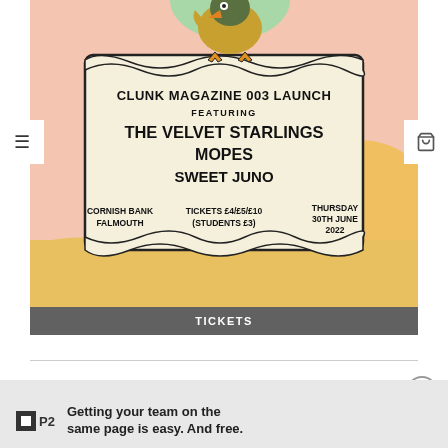[Figure (illustration): Concert event poster for Clunk Magazine 003 Launch featuring The Velvet Starlings, Mopes, Sweet Juno. Illustrated poster with a bird holding a scroll, colorful background (pink, yellow, green). Details: Cornish Bank Falmouth, Tickets £4/£5/£10 (Students £3), Thursday 30th June 2022.]
TICKETS
Advertisements
Getting your team on the same page is easy. And free.